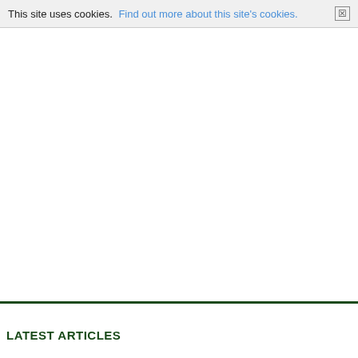This site uses cookies. Find out more about this site's cookies. ☒
LATEST ARTICLES